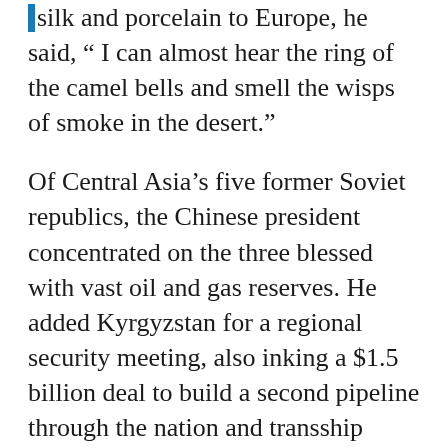silk and porcelain to Europe, he said, "I can almost hear the ring of the camel bells and smell the wisps of smoke in the desert."
Of Central Asia's five former Soviet republics, the Chinese president concentrated on the three blessed with vast oil and gas reserves. He added Kyrgyzstan for a regional security meeting, also inking a $1.5 billion deal to build a second pipeline through the nation and transship Uzbek and Turkmen gas to China.
China's supreme leader skipped energy-deprived Tajikistan, leaving this nation bordering Afghanistan to the Russians. In Russia's largest foreign military deployment, Russia stations 6,000 soldiers